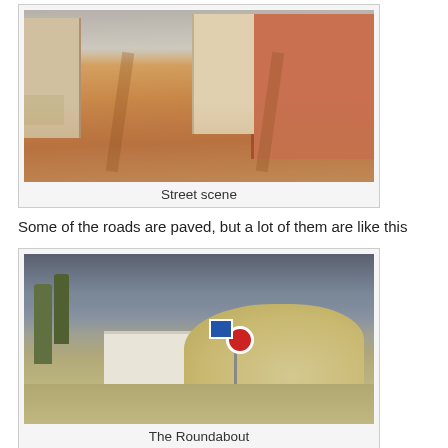[Figure (photo): Sandy unpaved street scene in a Brazilian town with brick and concrete buildings on both sides, sandy road with tire tracks, bright sunlight]
Street scene
Some of the roads are paved, but a lot of them are like this
[Figure (photo): A roundabout where a road from the state capital comes in, with a large sand dune visible behind low white walls, road signs, and overcast sky]
The Roundabout
This is the roundabout where the road from the state capital comes in, every night sand blows onto the road from the sand